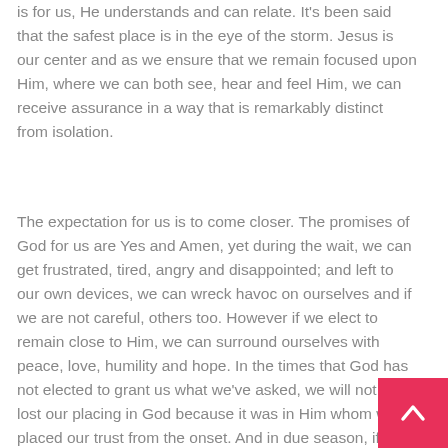is for us, He understands and can relate. It's been said that the safest place is in the eye of the storm. Jesus is our center and as we ensure that we remain focused upon Him, where we can both see, hear and feel Him, we can receive assurance in a way that is remarkably distinct from isolation.
The expectation for us is to come closer. The promises of God for us are Yes and Amen, yet during the wait, we can get frustrated, tired, angry and disappointed; and left to our own devices, we can wreck havoc on ourselves and if we are not careful, others too. However if we elect to remain close to Him, we can surround ourselves with peace, love, humility and hope. In the times that God has not elected to grant us what we've asked, we will not have lost our placing in God because it was in Him whom we've placed our trust from the onset. And in due season, if we faint not, we may anticipate that God will send forth something even better or perhaps allow us to come to the realization that whatever we desired wasn't for us, but accepting